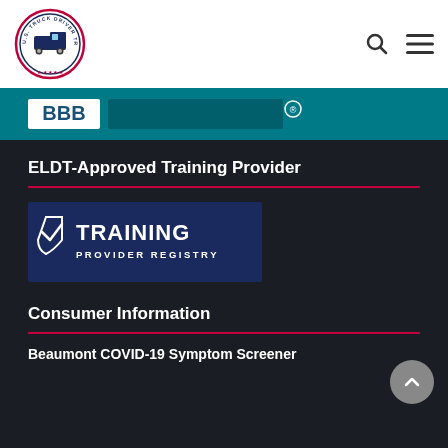U.S. Truck Driver Training School — navigation bar with logo, search icon, and menu icon
[Figure (logo): BBB (Better Business Bureau) partial banner in teal/dark background with BBB logo and registered trademark symbol]
ELDT-Approved Training Provider
[Figure (logo): Training Provider Registry badge — dark navy blue background with shield/checkmark icon and text TRAINING PROVIDER REGISTRY]
Consumer Information
Beaumont COVID-19 Symptom Screener